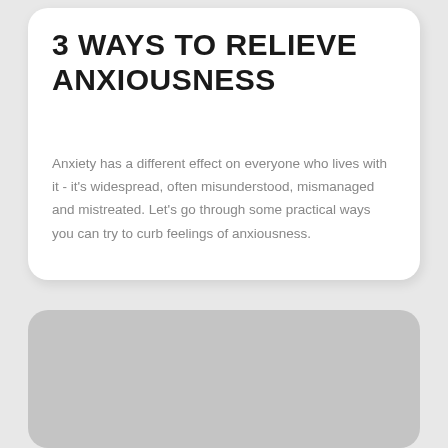3 WAYS TO RELIEVE ANXIOUSNESS
Anxiety has a different effect on everyone who lives with it - it's widespread, often misunderstood, mismanaged and mistreated. Let's go through some practical ways you can try to curb feelings of anxiousness.
[Figure (other): Gray rounded rectangle card, partially visible at bottom of page]